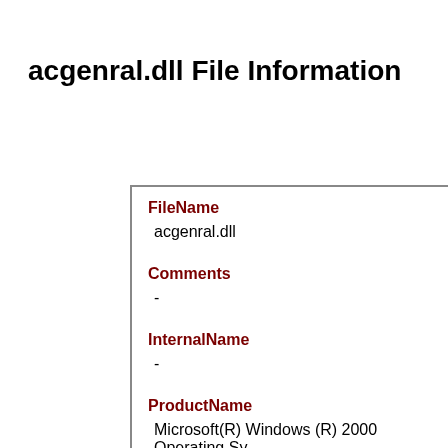acgenral.dll File Information
| Field | Value |
| --- | --- |
| FileName | acgenral.dll |
| Comments | - |
| InternalName | - |
| ProductName | Microsoft(R) Windows (R) 2000 Operating System
Microsoft? Windows? Operating System |
| CompanyName |  |